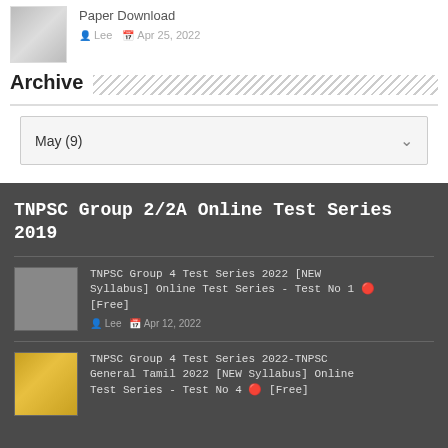Paper Download
Lee  Apr 25, 2022
Archive
May (9)
TNPSC Group 2/2A Online Test Series 2019
TNPSC Group 4 Test Series 2022 [NEW Syllabus] Online Test Series - Test No 1 🔴 [Free]
Lee  Apr 12, 2022
TNPSC Group 4 Test Series 2022-TNPSC General Tamil 2022 [NEW Syllabus] Online Test Series - Test No 4 🔴 [Free]